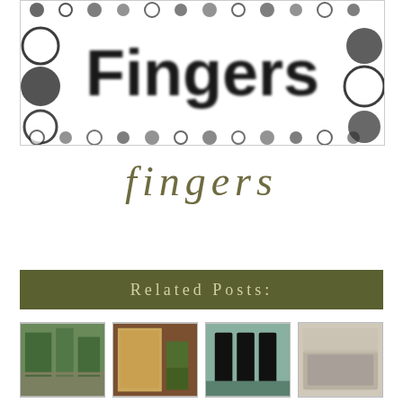[Figure (logo): Black and white circular dots pattern logo with bold text 'Fingers' in the center, blurred/halftone style]
fingers
Related Posts:
[Figure (photo): Outdoor trees/park scene thumbnail]
[Figure (photo): Green objects/garage door thumbnail]
[Figure (photo): Nail polish bottles thumbnail]
[Figure (photo): Indoor room/couch thumbnail]